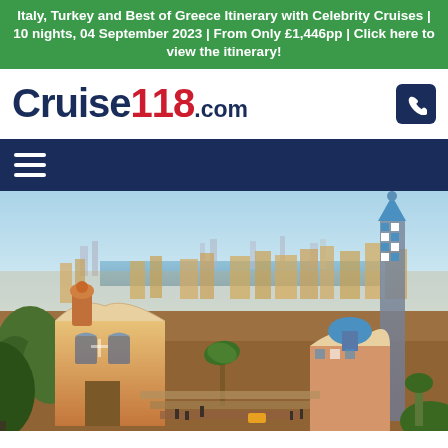Italy, Turkey and Best of Greece Itinerary with Celebrity Cruises | 10 nights, 04 September 2023 | From Only £1,446pp | Click here to view the itinerary!
[Figure (logo): Cruise118.com logo with navy 'Cruise' text, red '118', navy '.com' text, and a navy phone icon button on the right]
[Figure (photo): Aerial view of Park Güell in Barcelona, Spain, showing Gaudí's iconic mosaic-covered buildings with the city skyline and Mediterranean Sea in the background]